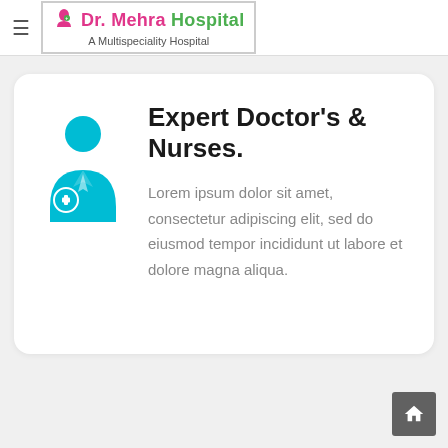Dr. Mehra Hospital — A Multispeciality Hospital
[Figure (illustration): Blue doctor/medical professional icon with a stethoscope and a plus sign]
Expert Doctor's & Nurses.
Lorem ipsum dolor sit amet, consectetur adipiscing elit, sed do eiusmod tempor incididunt ut labore et dolore magna aliqua.
[Figure (logo): Home button icon in bottom right corner]